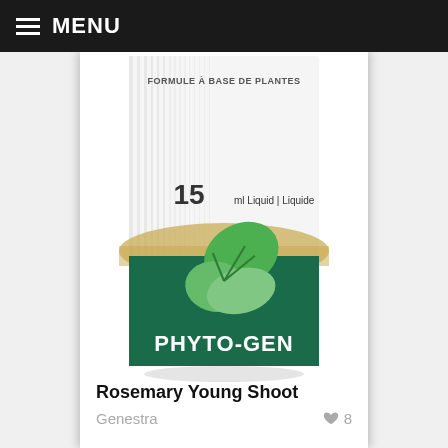MENU
[Figure (photo): Product box of Phyto-Gen by Genestra. White box with green bottom section, featuring a leaf logo, text reading 'FORMULE À BASE DE PLANTES' at top, '15 ml Liquid | Liquide' in middle, and 'PHYTO-GEN' branding on the green section.]
Rosemary Young Shoot
Genestra
8